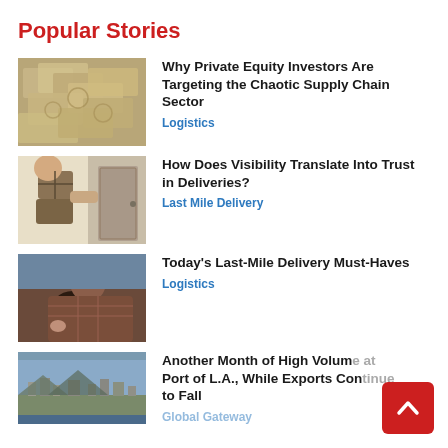Popular Stories
[Figure (photo): Pile of US dollar bills]
Why Private Equity Investors Are Targeting the Chaotic Supply Chain Sector
Logistics
[Figure (photo): Person delivering packages at a door]
How Does Visibility Translate Into Trust in Deliveries?
Last Mile Delivery
[Figure (photo): Person driving a car, viewed from behind steering wheel]
Today's Last-Mile Delivery Must-Haves
Logistics
[Figure (photo): Aerial view of Port of Los Angeles]
Another Month of High Volume at Port of L.A., While Exports Continue to Fall
Global Gateway